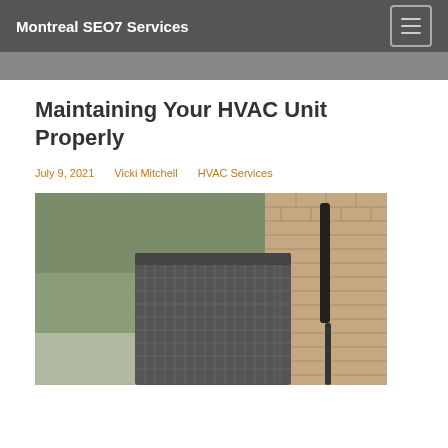Montreal SEO7 Services
Maintaining Your HVAC Unit Properly
July 9, 2021    Vicki Mitchell    HVAC Services
[Figure (photo): Outdoor HVAC condenser unit beside a brick wall with trees in background]